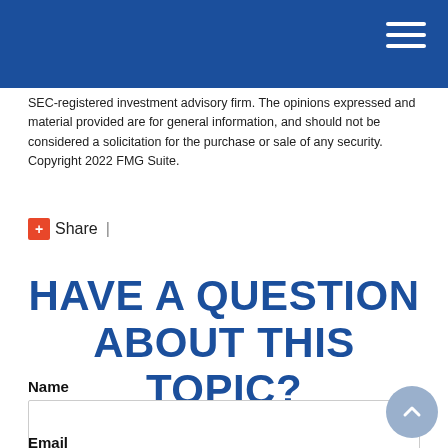SEC-registered investment advisory firm. The opinions expressed and material provided are for general information, and should not be considered a solicitation for the purchase or sale of any security. Copyright 2022 FMG Suite.
Share |
HAVE A QUESTION ABOUT THIS TOPIC?
Name
Email